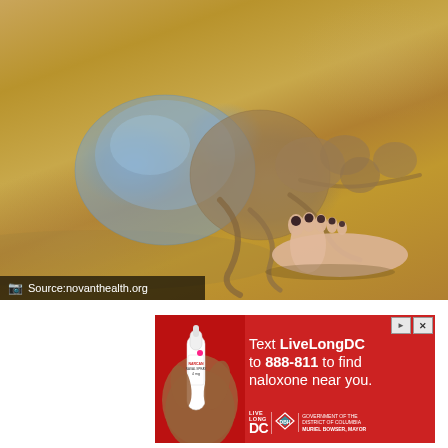[Figure (photo): A large jellyfish washed ashore on sandy beach with a person's bare foot visible next to it for scale. The jellyfish has a translucent blue-grey bell and brownish tentacles spread on the sand. A source watermark reads 'Source:novanthealth.org' in the bottom-left corner.]
Source:novanthealth.org
[Figure (infographic): Advertisement with red background. Shows a naloxone nasal spray device on the left. Text reads: 'Text LiveLongDC to 888-811 to find naloxone near you.' Bottom logos include LIVE LONG DC, DBH, and DC Government / Muriel Bowser Mayor branding.]